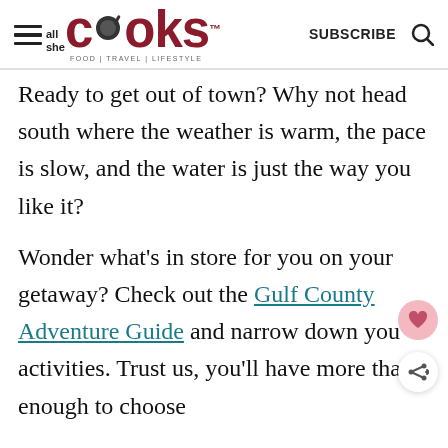all she cooks — FOOD | TRAVEL | LIFESTYLE — SUBSCRIBE
Ready to get out of town? Why not head south where the weather is warm, the pace is slow, and the water is just the way you like it?
Wonder what's in store for you on your getaway? Check out the Gulf County Adventure Guide and narrow down you activities. Trust us, you'll have more than enough to choose